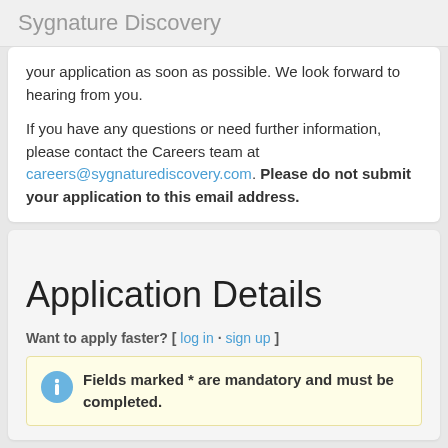Sygnature Discovery
your application as soon as possible. We look forward to hearing from you.

If you have any questions or need further information, please contact the Careers team at careers@sygnaturediscovery.com. Please do not submit your application to this email address.
Application Details
Want to apply faster? [ log in · sign up ]
Fields marked * are mandatory and must be completed.